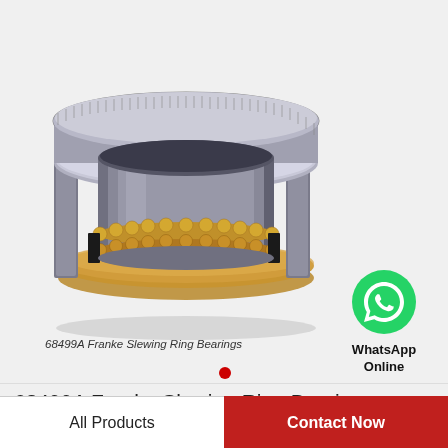[Figure (photo): A 68499A Franke slewing ring bearing shown in a 3D perspective view. The bearing is a large annular ring with a metallic silver/chrome outer ring featuring gear teeth on the outer circumference, and golden-colored ball bearings visible in a cross-section cutaway at the bottom. Two black spacer tabs are visible.]
68499A Franke Slewing Ring Bearings
[Figure (logo): WhatsApp green circular icon with white phone handset, labeled 'WhatsApp Online']
68499A Franke Slewing Ring Bearings
All Products   Contact Now